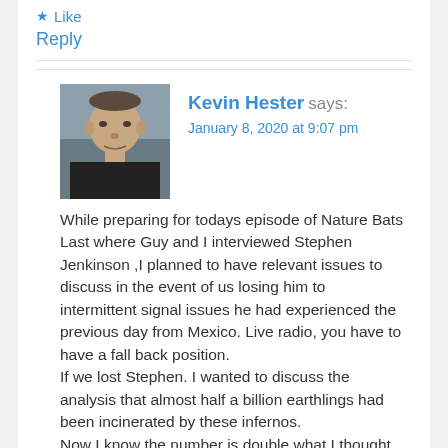Like
Reply
Kevin Hester says:
January 8, 2020 at 9:07 pm
[Figure (photo): Profile photo of Kevin Hester, a middle-aged man in a black shirt]
While preparing for todays episode of Nature Bats Last where Guy and I interviewed Stephen Jenkinson ,I planned to have relevant issues to discuss in the event of us losing him to intermittent signal issues he had experienced the previous day from Mexico. Live radio, you have to have a fall back position.
If we lost Stephen. I wanted to discuss the analysis that almost half a billion earthlings had been incinerated by these infernos.
Now I know the number is double what I thought going to air 8 hours ago !
That's how extinction cascades pan out. The predicament is always worse than we knew a few hours ago.